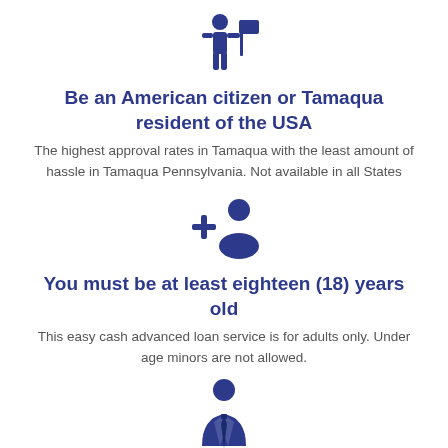[Figure (illustration): Dark blue icon of a person standing next to a board/sign]
Be an American citizen or Tamaqua resident of the USA
The highest approval rates in Tamaqua with the least amount of hassle in Tamaqua Pennsylvania. Not available in all States
[Figure (illustration): Dark blue icon of a person with a plus sign (add person/user icon)]
You must be at least eighteen (18) years old
This easy cash advanced loan service is for adults only. Under age minors are not allowed.
[Figure (illustration): Dark blue icon of a businessman in a suit with a tie]